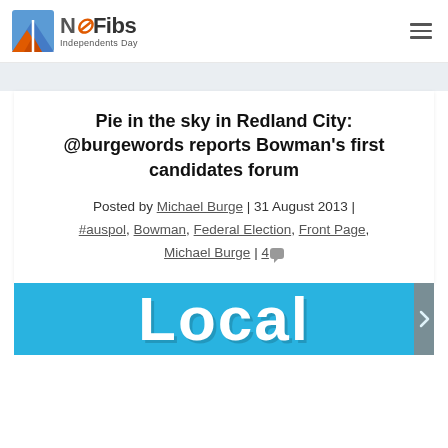NoFibs Independents Day
Pie in the sky in Redland City: @burgewords reports Bowman's first candidates forum
Posted by Michael Burge | 31 August 2013 | #auspol, Bowman, Federal Election, Front Page, Michael Burge | 4
[Figure (photo): Blue banner image showing the word 'Local' in large white bold text]